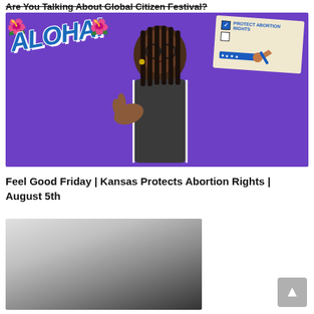Are You Talking About Global Citizen Festival?
[Figure (screenshot): Video thumbnail showing a young Black woman with braids and glasses against a purple background, with 'ALOHA!' text on the left with flowers, and a ballot card reading 'PROTECT ABORTION RIGHTS' on the upper right.]
Feel Good Friday | Kansas Protects Abortion Rights | August 5th
[Figure (photo): Black and white photo, partial view, dark diagonal shape against light grey background.]